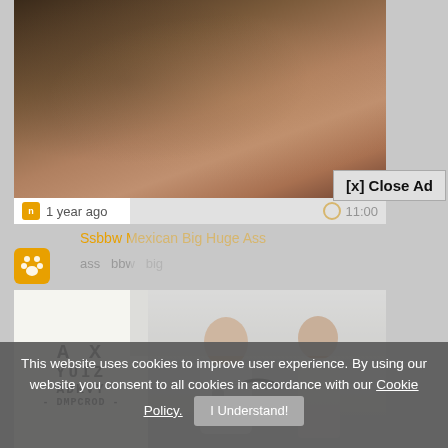[Figure (screenshot): Blurry video thumbnail showing a dark/brown toned image, top portion of a webpage video player]
[x] Close Ad
1 year ago
11:00
Ssbbw Mexican Big Huge Ass
ass  bbw  big
[Figure (screenshot): Eye chart with letters A X / Y U I Z / A D K V Y / - D M P C R Q D - on white background]
[Figure (screenshot): Photo of a female doctor in white coat examining a shirtless young male patient, medical office setting]
This website uses cookies to improve user experience. By using our website you consent to all cookies in accordance with our Cookie Policy.  I Understand!